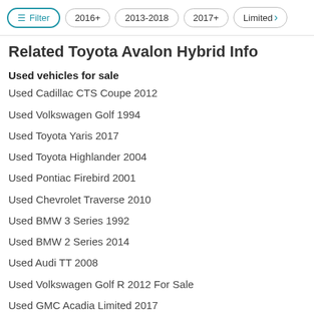Filter | 2016+ | 2013-2018 | 2017+ | Limited
Related Toyota Avalon Hybrid Info
Used vehicles for sale
Used Cadillac CTS Coupe 2012
Used Volkswagen Golf 1994
Used Toyota Yaris 2017
Used Toyota Highlander 2004
Used Pontiac Firebird 2001
Used Chevrolet Traverse 2010
Used BMW 3 Series 1992
Used BMW 2 Series 2014
Used Audi TT 2008
Used Volkswagen Golf R 2012 For Sale
Used GMC Acadia Limited 2017
Used Ford Bronco 1996
Used Dodge Durango 2003
Used Cadillac CTS Coupe 2014